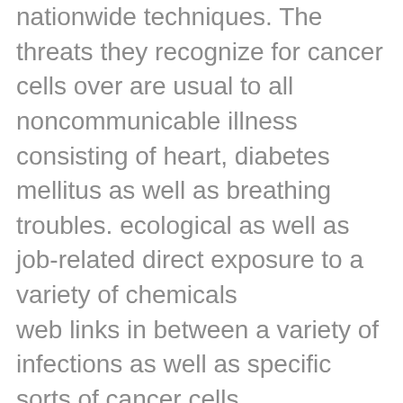nationwide techniques. The threats they recognize for cancer cells over are usual to all noncommunicable illness consisting of heart, diabetes mellitus as well as breathing troubles. ecological as well as job-related direct exposure to a variety of chemicals
web links in between a variety of infections as well as specific sorts of cancer cells
parasitical infection schistosomiasis
direct exposure to some types of ionising radiation
extreme ultraviolet radiation
W.H.O. therapy concerns
Early discovery boosts opportunities of survival, however WHO anxiety " just when connected to reliable therapy'. The WHO intend to boost our recognition of the symptoms and signs of cancer